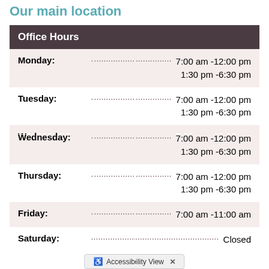Our main location
| Office Hours |
| --- |
| Monday: | 7:00 am - 12:00 pm
1:30 pm - 6:30 pm |
| Tuesday: | 7:00 am - 12:00 pm
1:30 pm - 6:30 pm |
| Wednesday: | 7:00 am - 12:00 pm
1:30 pm - 6:30 pm |
| Thursday: | 7:00 am - 12:00 pm
1:30 pm - 6:30 pm |
| Friday: | 7:00 am - 11:00 am |
| Saturday: | Closed |
Accessibility View ×